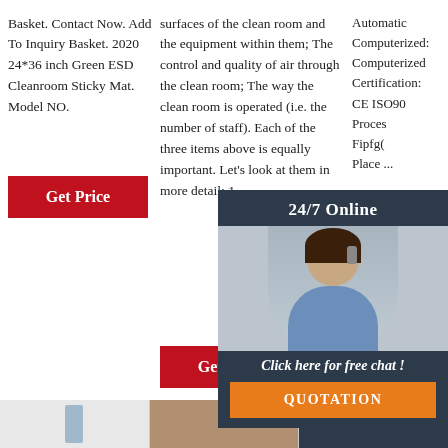Basket. Contact Now. Add To Inquiry Basket. 2020 24*36 inch Green ESD Cleanroom Sticky Mat. Model NO.
[Figure (other): Red 'Get Price' button]
surfaces of the clean room and the equipment within them; The control and quality of air through the clean room; The way the clean room is operated (i.e. the number of staff). Each of the three items above is equally important. Let's look at them in more detail: 1.
[Figure (other): Red 'Get Price' button (second column)]
Automatic Computerized: Computerized Certification: CE ISO90... Proces... Fipfg(... Place ...
[Figure (other): 24/7 Online chat popup overlay with agent photo, 'Click here for free chat!' text and orange QUOTATION button]
[Figure (other): Red 'Get' button (third column, partially visible)]
[Figure (other): Orange TOP button with dots icon]
[Figure (photo): Bottom row: three partially visible images - a product image on white, a store/showroom image, and a dark navy background]
[Figure (other): Red 'Get Price' button (bottom center)]